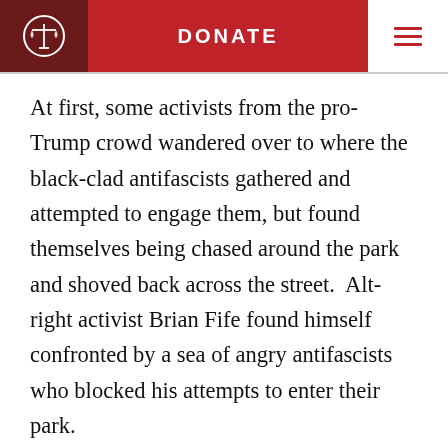DONATE
At first, some activists from the pro-Trump crowd wandered over to where the black-clad antifascists gathered and attempted to engage them, but found themselves being chased around the park and shoved back across the street.  Alt-right activist Brian Fife found himself confronted by a sea of angry antifascists who blocked his attempts to enter their park.
The rally’s organizers not only were acutely sensitive about the association with the train murders, but angrily rejected it, claiming that